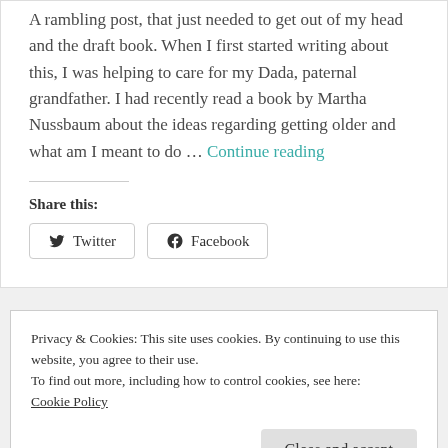A rambling post, that just needed to get out of my head and the draft book. When I first started writing about this, I was helping to care for my Dada, paternal grandfather. I had recently read a book by Martha Nussbaum about the ideas regarding getting older and what am I meant to do … Continue reading
Share this:
Twitter  Facebook
Privacy & Cookies: This site uses cookies. By continuing to use this website, you agree to their use.
To find out more, including how to control cookies, see here: Cookie Policy
Close and accept